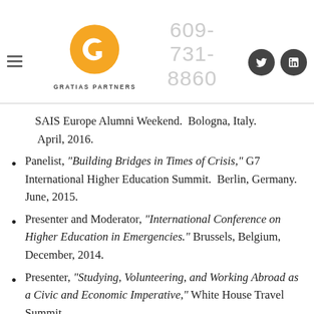GRATIAS PARTNERS | 609-731-8860
SAIS Europe Alumni Weekend.  Bologna, Italy.  April, 2016.
Panelist, “Building Bridges in Times of Crisis,” G7 International Higher Education Summit.  Berlin, Germany.  June, 2015.
Presenter and Moderator, “International Conference on Higher Education in Emergencies.”  Brussels, Belgium, December, 2014.
Presenter, “Studying, Volunteering, and Working Abroad as a Civic and Economic Imperative,” White House Travel Summit.  Washington, DC, November 2014.